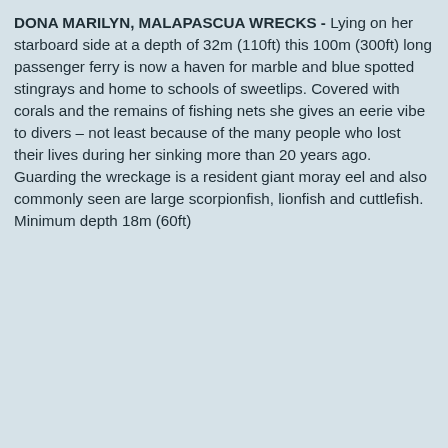DONA MARILYN, MALAPASCUA WRECKS - Lying on her starboard side at a depth of 32m (110ft) this 100m (300ft) long passenger ferry is now a haven for marble and blue spotted stingrays and home to schools of sweetlips. Covered with corals and the remains of fishing nets she gives an eerie vibe to divers – not least because of the many people who lost their lives during her sinking more than 20 years ago. Guarding the wreckage is a resident giant moray eel and also commonly seen are large scorpionfish, lionfish and cuttlefish. Minimum depth 18m (60ft)